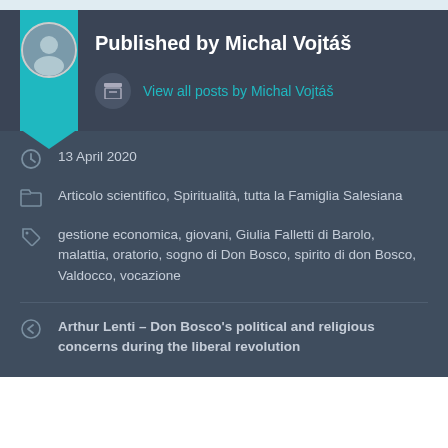Published by Michal Vojtáš
View all posts by Michal Vojtáš
13 April 2020
Articolo scientifico, Spiritualità, tutta la Famiglia Salesiana
gestione economica, giovani, Giulia Falletti di Barolo, malattia, oratorio, sogno di Don Bosco, spirito di don Bosco, Valdocco, vocazione
Arthur Lenti – Don Bosco's political and religious concerns during the liberal revolution